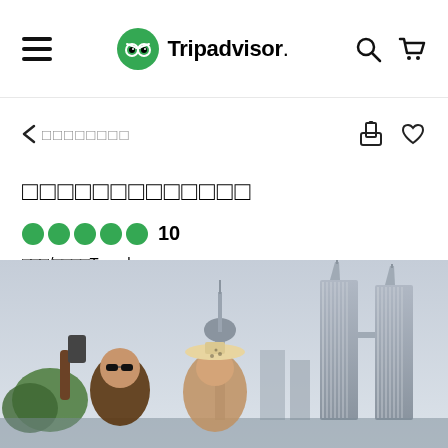Tripadvisor
< □□□□□□□□
□□□□□□□□□□□□□
●●●●● 10
□□□/□□□□Travelvago
[Figure (photo): Couple taking a selfie in front of Kuala Lumpur skyline with Petronas Twin Towers in background]